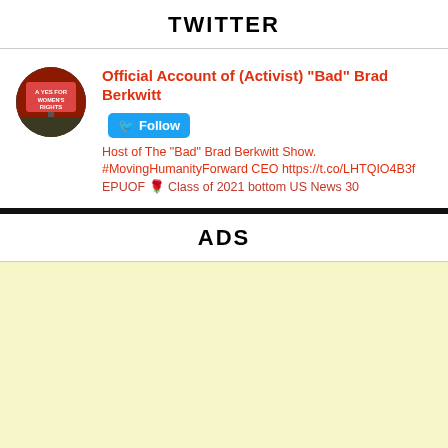TWITTER
[Figure (illustration): Twitter profile avatar — circular profile photo showing protest sign for women's rights with red and dark background]
Official Account of (Activist) "Bad" Brad Berkwitt
Host of The "Bad" Brad Berkwitt Show. #MovingHumanityForward CEO https://t.co/LHTQIO4B3f EPUOF 🌹 Class of 2021 bottom US News 30 Years 5 33
ADS